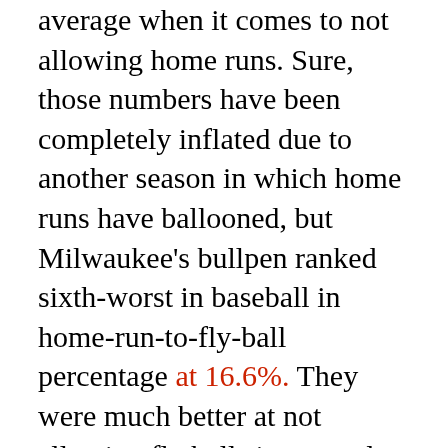average when it comes to not allowing home runs.  Sure, those numbers have been completely inflated due to another season in which home runs have ballooned, but Milwaukee's bullpen ranked sixth-worst in baseball in home-run-to-fly-ball percentage at 16.6%.  They were much better at not allowing fly balls in general though, ranking 23rd.  Milwaukee just has to limit the hard contact on those fly-ball prone pitches.  Another proposition toward going with a starter a little longer?  Milwaukee's starters were slightly above average in HR/FB%, ranking 18th in baseball at 14.9%.
Will it allow the starters to be...